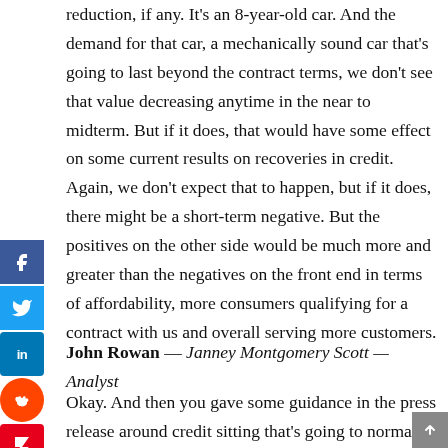reduction, if any. It's an 8-year-old car. And the demand for that car, a mechanically sound car that's going to last beyond the contract terms, we don't see that value decreasing anytime in the near to midterm. But if it does, that would have some effect on some current results on recoveries in credit. Again, we don't expect that to happen, but if it does, there might be a short-term negative. But the positives on the other side would be much more and greater than the negatives on the front end in terms of affordability, more consumers qualifying for a contract with us and overall serving more customers.
John Rowan — Janney Montgomery Scott — Analyst
Okay. And then you gave some guidance in the press release around credit sitting that's going to normalize